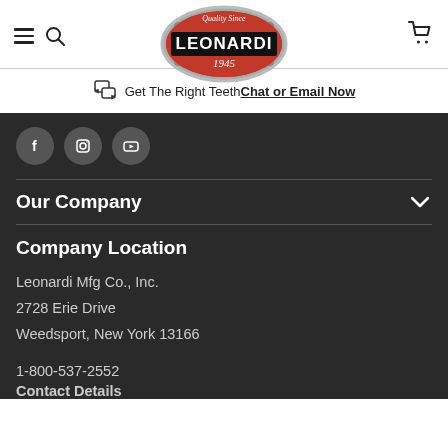Leonardi 1945 — Quality Since — Navigation header with hamburger, search, logo, and cart icons
Get The Right Teeth Chat or Email Now
[Figure (logo): Leonardi 1945 logo — red oval shield with silver border, text Quality Since at top, LEONARDI in black box center, 1945 at bottom in red]
Our Company
Company Location
Leonardi Mfg Co., Inc.
2728 Erie Drive
Weedsport, New York 13166
1-800-537-2552
Contact Details